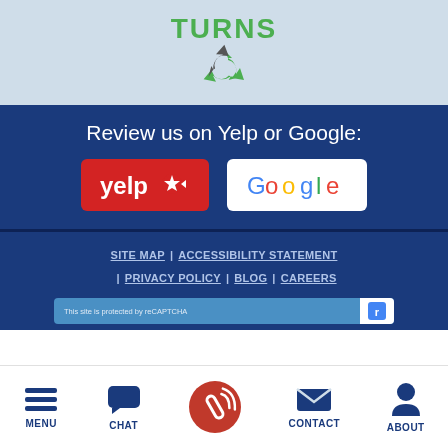[Figure (logo): TURNS logo with recycling arrows icon on light blue background]
Review us on Yelp or Google:
[Figure (logo): Yelp red button logo]
[Figure (logo): Google white button logo]
SITE MAP | ACCESSIBILITY STATEMENT | PRIVACY POLICY | BLOG | CAREERS
This site is protected by reCAPTCHA
MENU  CHAT  CONTACT  ABOUT